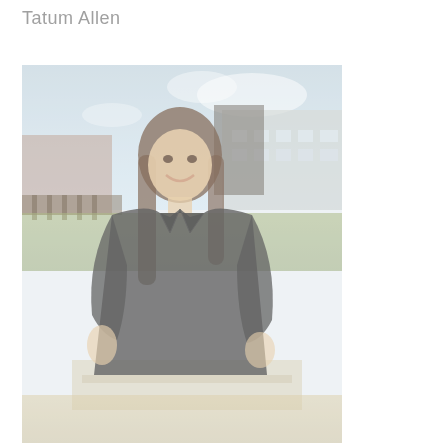Tatum Allen
[Figure (photo): A young woman with long brown hair wearing a black polo shirt, smiling and standing outdoors in front of a school building with a blue sky background and green grass.]